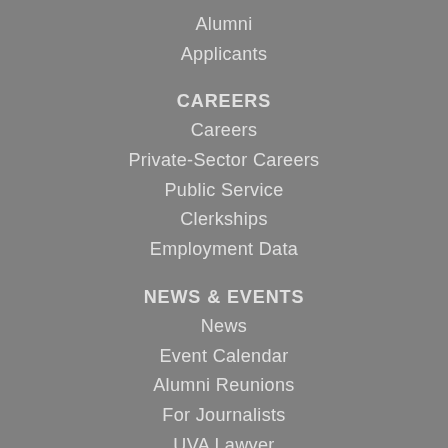Alumni
Applicants
CAREERS
Careers
Private-Sector Careers
Public Service
Clerkships
Employment Data
NEWS & EVENTS
News
Event Calendar
Alumni Reunions
For Journalists
UVA Lawyer
Videos & Podcasts
Social Media